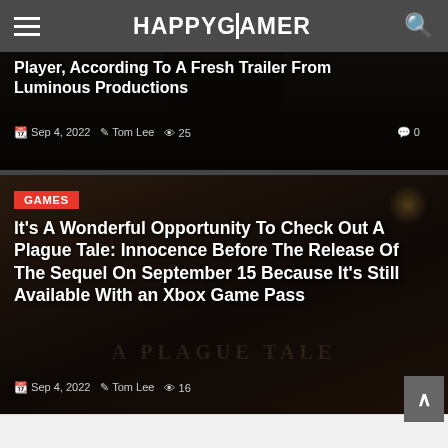HAPPYGAMER
Player, According To A Fresh Trailer From Luminous Productions
Sep 4, 2022  Tom Lee  25  0
[Figure (screenshot): Dark game scene background for article card 2 with A Plague Tale watermark]
GAMES
It's A Wonderful Opportunity To Check Out A Plague Tale: Innocence Before The Release Of The Sequel On September 15 Because It's Still Available With an Xbox Game Pass
Sep 4, 2022  Tom Lee  16